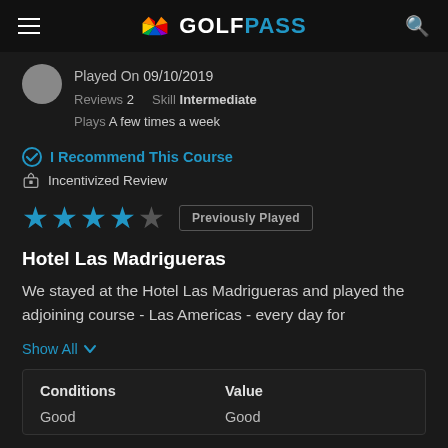GOLFPASS
Played On 09/10/2019
Reviews 2   Skill Intermediate
Plays A few times a week
I Recommend This Course
Incentivized Review
★★★★☆  Previously Played
Hotel Las Madrigueras
We stayed at the Hotel Las Madrigueras and played the adjoining course - Las Americas - every day for
Show All
| Conditions | Value |
| --- | --- |
| Good | Good |